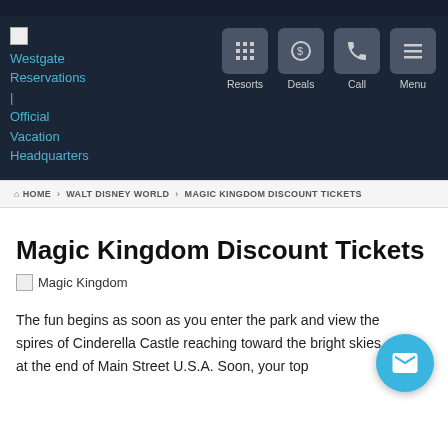Westgate Reservations | Official Vacation Headquarters
[Figure (screenshot): Navigation bar with Resorts, Deals, Call, Menu icon buttons]
HOME > WALT DISNEY WORLD > MAGIC KINGDOM DISCOUNT TICKETS
Magic Kingdom Discount Tickets
[Figure (photo): Magic Kingdom image placeholder]
The fun begins as soon as you enter the park and view the spires of Cinderella Castle reaching toward the bright skies at the end of Main Street U.S.A. Soon, your top